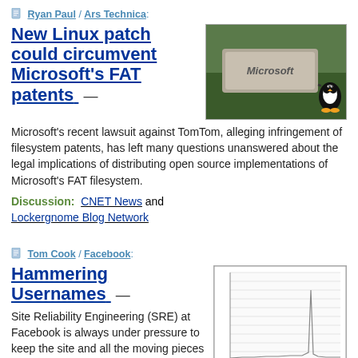Ryan Paul / Ars Technica:
[Figure (photo): Photo of Microsoft sign with Linux penguin mascot chained to it]
New Linux patch could circumvent Microsoft's FAT patents
Microsoft's recent lawsuit against TomTom, alleging infringement of filesystem patents, has left many questions unanswered about the legal implications of distributing open source implementations of Microsoft's FAT filesystem.
Discussion:  CNET News and Lockergnome Blog Network
Tom Cook / Facebook:
[Figure (line-chart): Line chart showing a spike in server load or traffic, with a sharp peak followed by decline]
Hammering Usernames
Site Reliability Engineering (SRE) at Facebook is always under pressure to keep the site and all the moving pieces behind the scenes running while still delivering an excellent user experience.  The recent launch of usernames to our 200 million